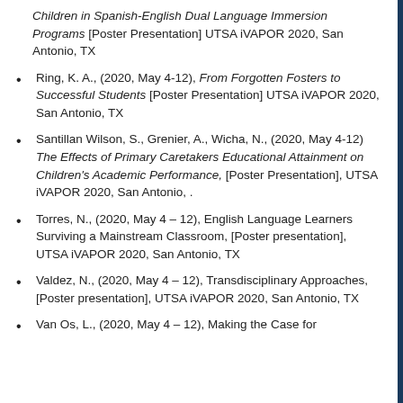Children in Spanish-English Dual Language Immersion Programs [Poster Presentation] UTSA iVAPOR 2020, San Antonio, TX
Ring, K. A., (2020, May 4-12), From Forgotten Fosters to Successful Students [Poster Presentation] UTSA iVAPOR 2020, San Antonio, TX
Santillan Wilson, S., Grenier, A., Wicha, N., (2020, May 4-12) The Effects of Primary Caretakers Educational Attainment on Children's Academic Performance, [Poster Presentation], UTSA iVAPOR 2020, San Antonio, .
Torres, N., (2020, May 4 – 12), English Language Learners Surviving a Mainstream Classroom, [Poster presentation], UTSA iVAPOR 2020, San Antonio, TX
Valdez, N., (2020, May 4 – 12), Transdisciplinary Approaches, [Poster presentation], UTSA iVAPOR 2020, San Antonio, TX
Van Os, L., (2020, May 4 – 12), Making the Case for